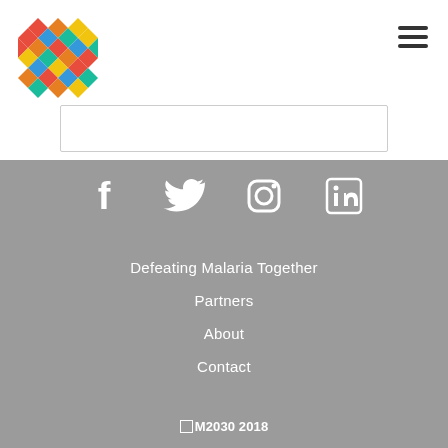[Figure (logo): M2030 Defeating Malaria Together colorful diamond cross-hatch logo]
[Figure (other): Hamburger menu icon (three horizontal lines)]
[Figure (other): Search box / input field (empty, light border)]
[Figure (other): Social media icons row: Facebook, Twitter, Instagram, LinkedIn — white icons on gray background]
Defeating Malaria Together
Partners
About
Contact
© M2030 2018